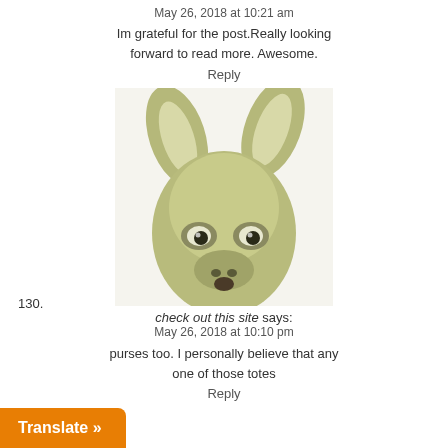May 26, 2018 at 10:21 am
Im grateful for the post.Really looking forward to read more. Awesome.
Reply
[Figure (photo): A blurry photo of a cartoon-like deer or kangaroo face with large ears, olive/tan coloring, and wide eyes looking forward.]
130.
check out this site says:
May 26, 2018 at 10:10 pm
purses too. I personally believe that any one of those totes
Reply
[Figure (photo): Bottom portion of the same deer/kangaroo image cropped at the bottom of the page.]